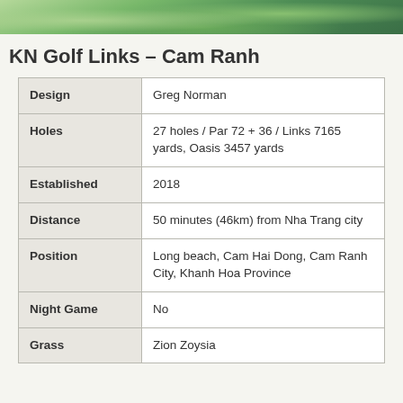[Figure (photo): Aerial photo of KN Golf Links Cam Ranh golf course showing green fairways]
KN Golf Links – Cam Ranh
|  |  |
| --- | --- |
| Design | Greg Norman |
| Holes | 27 holes / Par 72 + 36 / Links 7165 yards, Oasis 3457 yards |
| Established | 2018 |
| Distance | 50 minutes (46km) from Nha Trang city |
| Position | Long beach, Cam Hai Dong, Cam Ranh City, Khanh Hoa Province |
| Night Game | No |
| Grass | Zion Zoysia |